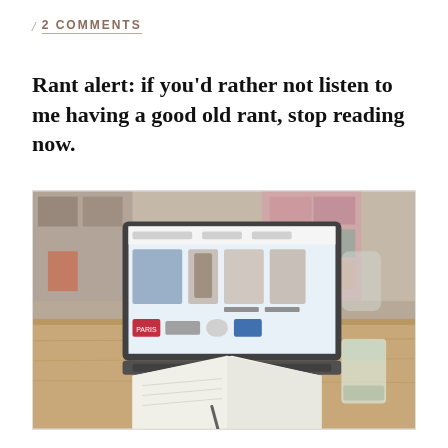/ 2 COMMENTS
Rant alert: if you’d rather not listen to me having a good old rant, stop reading now.
[Figure (photo): Photo of a laptop open on a wooden table in a cafe-style setting, showing a website with fashion images on screen. An open notebook and a glass of water sit beside the laptop. Colorful shelving with shoes is visible in the blurred background.]